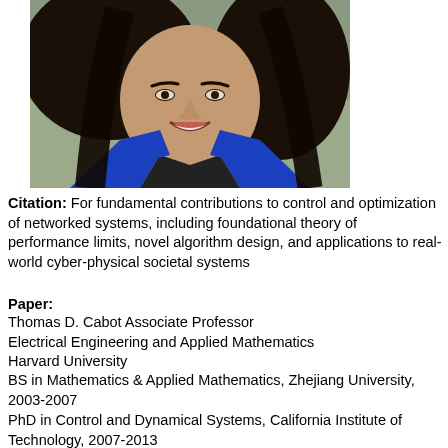[Figure (photo): Professional headshot of a woman with long dark hair, smiling, wearing a blue blazer over a dark top, photographed against a blurred outdoor background.]
Citation: For fundamental contributions to control and optimization of networked systems, including foundational theory of performance limits, novel algorithm design, and applications to real-world cyber-physical societal systems
Paper:
Thomas D. Cabot Associate Professor
Electrical Engineering and Applied Mathematics
Harvard University
BS in Mathematics & Applied Mathematics, Zhejiang University, 2003-2007
PhD in Control and Dynamical Systems, California Institute of Technology, 2007-2013
Postdoc, Massachusetts Institute of Technology, 2013-2014
Assistant Professor of Electrical Engineering and Applied